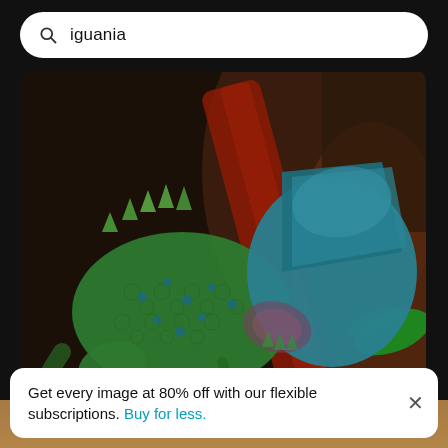iguania
[Figure (photo): Close-up photo of a green chameleon (lizard) on a tree branch with natural background colors. The chameleon displays vivid green and blue-teal scales, with detailed texture visible.]
Close-up of lizard on tree, natural pallet
Get every image at 80% off with our flexible subscriptions. Buy for less.